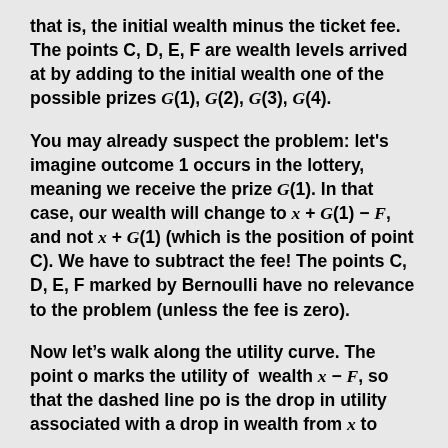that is, the initial wealth minus the ticket fee. The points C, D, E, F are wealth levels arrived at by adding to the initial wealth one of the possible prizes G(1), G(2), G(3), G(4).
You may already suspect the problem: let's imagine outcome 1 occurs in the lottery, meaning we receive the prize G(1). In that case, our wealth will change to x + G(1) − F, and not x + G(1) (which is the position of point C). We have to subtract the fee! The points C, D, E, F marked by Bernoulli have no relevance to the problem (unless the fee is zero).
Now let's walk along the utility curve. The point o marks the utility of wealth x − F, so that the dashed line po is the drop in utility associated with a drop in wealth from x to